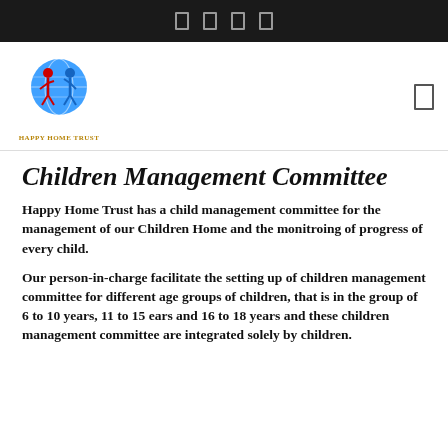Happy Home Trust navigation bar with social icons
[Figure (logo): Happy Home Trust logo: globe with two children figures, one red and one blue, and text 'Happy Home Trust' below]
Children Management Committee
Happy Home Trust has a child management committee for the management of our Children Home and the monitroing of progress of every child.
Our person-in-charge facilitate the setting up of children management committee for different age groups of children, that is in the group of 6 to 10 years, 11 to 15 ears and 16 to 18 years and these children management committee are integrated solely by children.